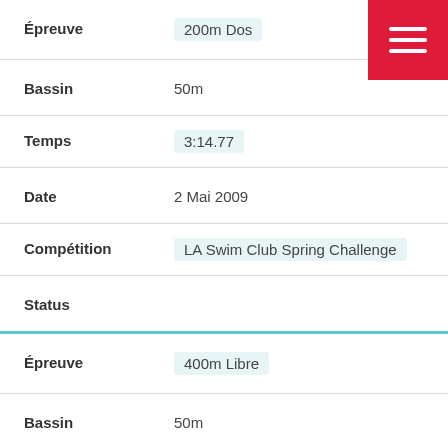| Champ | Valeur |
| --- | --- |
| Épreuve | 200m Dos |
| Bassin | 50m |
| Temps | 3:14.77 |
| Date | 2 Mai 2009 |
| Compétition | LA Swim Club Spring Challenge |
| Status |  |
| Épreuve | 400m Libre |
| Bassin | 50m |
| Temps | 5:39.36 |